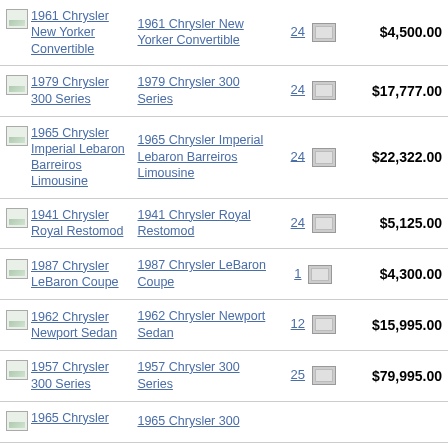| Thumbnail | Title | Photos | Price |
| --- | --- | --- | --- |
| 1961 Chrysler New Yorker Convertible | 1961 Chrysler New Yorker Convertible | 24 | $4,500.00 |
| 1979 Chrysler 300 Series | 1979 Chrysler 300 Series | 24 | $17,777.00 |
| 1965 Chrysler Imperial Lebaron Barreiros Limousine | 1965 Chrysler Imperial Lebaron Barreiros Limousine | 24 | $22,322.00 |
| 1941 Chrysler Royal Restomod | 1941 Chrysler Royal Restomod | 24 | $5,125.00 |
| 1987 Chrysler LeBaron Coupe | 1987 Chrysler LeBaron Coupe | 1 | $4,300.00 |
| 1962 Chrysler Newport Sedan | 1962 Chrysler Newport Sedan | 12 | $15,995.00 |
| 1957 Chrysler 300 Series | 1957 Chrysler 300 Series | 25 | $79,995.00 |
| 1965 Chrysler ... | 1965 Chrysler 300 ... | ... | $... |